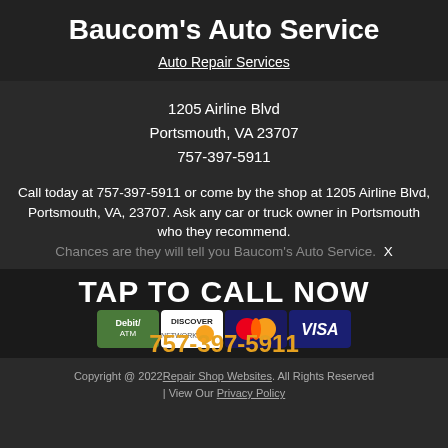Baucom's Auto Service
Auto Repair Services
1205 Airline Blvd
Portsmouth, VA 23707
757-397-5911
Call today at 757-397-5911 or come by the shop at 1205 Airline Blvd, Portsmouth, VA, 23707. Ask any car or truck owner in Portsmouth who they recommend. Chances are they will tell you Baucom's Auto Service. X
TAP TO CALL NOW
[Figure (other): Payment method logos: Debit/ATM, Discover, MasterCard, Visa]
757-397-5911
Copyright @ 2022 Repair Shop Websites. All Rights Reserved | View Our Privacy Policy